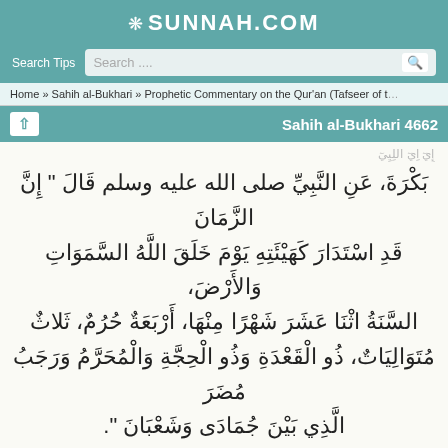SUNNAH.COM
Search Tips  Search....
Home » Sahih al-Bukhari » Prophetic Commentary on the Qur'an (Tafseer of t...
Sahih al-Bukhari 4662
Arabic text (truncated top line)
بَكْرَةَ، عَنِ النَّبِيِّ صلى الله عليه وسلم قَالَ " إِنَّ الزَّمَانَ قَدِ اسْتَدَارَ كَهَيْئَتِهِ يَوْمَ خَلَقَ اللَّهُ السَّمَوَاتِ وَالأَرْضَ، السَّنَةُ اثْنَا عَشَرَ شَهْرًا مِنْهَا، أَرْبَعَةٌ حُرُمٌ، ثَلاثٌ مُتَوَالِيَاتٌ، ذُو الْقَعْدَةِ وَذُو الْحِجَّةِ وَالْمُحَرَّمُ وَرَجَبُ مُضَرَ الَّذِي بَيْنَ جُمَادَى وَشَعْبَانَ ".
| Reference type | Value |
| --- | --- |
| Reference | : Sahih al-Bukhari 4662 |
| In-book reference | : Book 65, Hadith 184 |
| USC-MSA web (English) reference | : Vol. 6, Book 60, Hadith 184 |